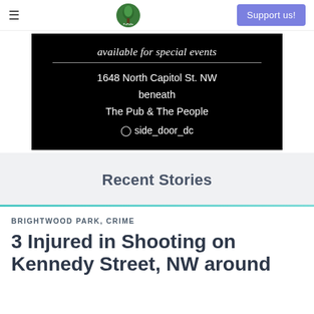≡  PoPville  Support us!
[Figure (other): Advertisement: black background with white text. 'available for special events' in italic, followed by a horizontal rule, then '1648 North Capitol St. NW beneath The Pub & The People' and Instagram handle 'side_door_dc']
Recent Stories
BRIGHTWOOD PARK, CRIME
3 Injured in Shooting on Kennedy Street, NW around